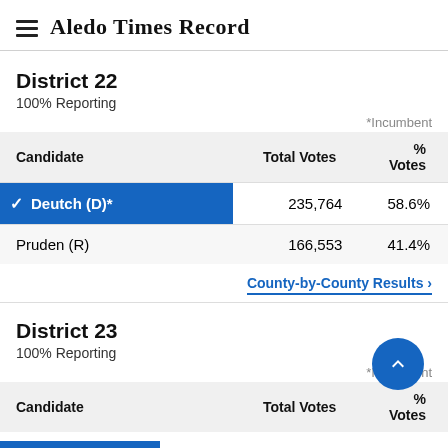Aledo Times Record
District 22
100% Reporting
*Incumbent
| Candidate | Total Votes | % Votes |
| --- | --- | --- |
| ✓ Deutch (D)* | 235,764 | 58.6% |
| Pruden (R) | 166,553 | 41.4% |
County-by-County Results ›
District 23
100% Reporting
*Incumbent
| Candidate | Total Votes | % Votes |
| --- | --- | --- |